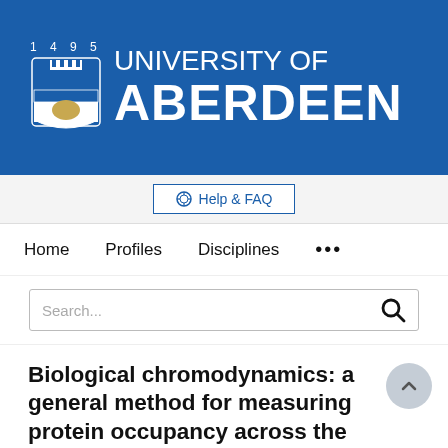[Figure (logo): University of Aberdeen logo: shield crest with year 1495 and white text 'UNIVERSITY OF ABERDEEN' on blue background]
Help & FAQ
Home   Profiles   Disciplines   ...
Search...
Biological chromodynamics: a general method for measuring protein occupancy across the genome by calibrating ChIP-seq